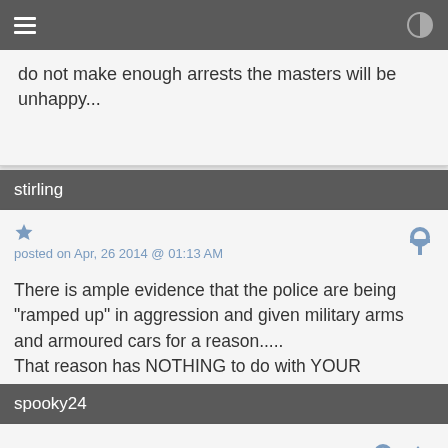do not make enough arrests the masters will be unhappy...
stirling
posted on Apr, 26 2014 @ 01:13 AM
There is ample evidence that the police are being "ramped up" in aggression and given military arms and armoured cars for a reason.....
That reason has NOTHING to do with YOUR SAFETY.....
Man in Blue-enemy of the people lackey of the regime....
spooky24
posted on Apr, 26 2014 @ 07:31 AM